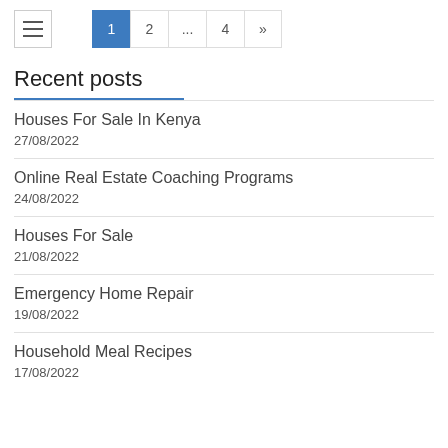Navigation with hamburger menu and pagination: 1, 2, ..., 4, »
Recent posts
Houses For Sale In Kenya
27/08/2022
Online Real Estate Coaching Programs
24/08/2022
Houses For Sale
21/08/2022
Emergency Home Repair
19/08/2022
Household Meal Recipes
17/08/2022